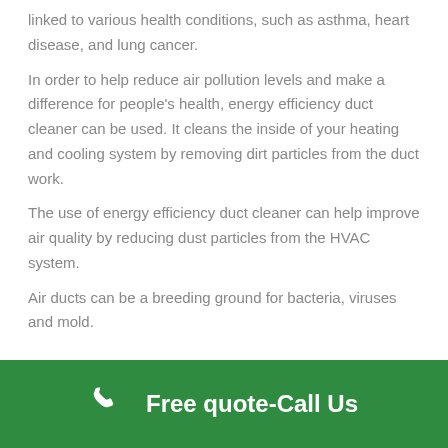linked to various health conditions, such as asthma, heart disease, and lung cancer.
In order to help reduce air pollution levels and make a difference for people's health, energy efficiency duct cleaner can be used. It cleans the inside of your heating and cooling system by removing dirt particles from the duct work.
The use of energy efficiency duct cleaner can help improve air quality by reducing dust particles from the HVAC system.
Air ducts can be a breeding ground for bacteria, viruses and mold.
Free quote-Call Us